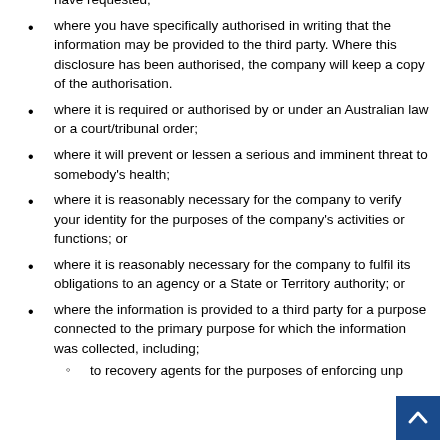have requested;
where you have specifically authorised in writing that the information may be provided to the third party. Where this disclosure has been authorised, the company will keep a copy of the authorisation.
where it is required or authorised by or under an Australian law or a court/tribunal order;
where it will prevent or lessen a serious and imminent threat to somebody's health;
where it is reasonably necessary for the company to verify your identity for the purposes of the company's activities or functions; or
where it is reasonably necessary for the company to fulfil its obligations to an agency or a State or Territory authority; or
where the information is provided to a third party for a purpose connected to the primary purpose for which the information was collected, including:
to recovery agents for the purposes of enforcing unp…